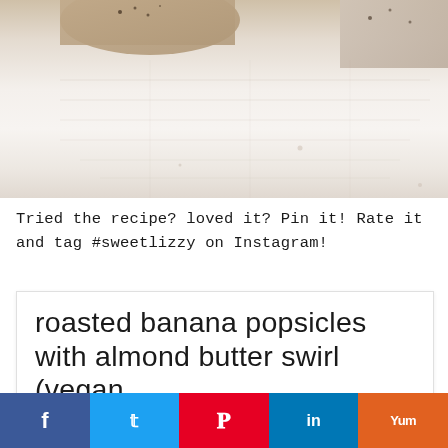[Figure (photo): Overhead photo of popsicles on a light textured surface, partially cropped, showing creamy white frozen treats with dark speckles]
Tried the recipe? loved it? Pin it! Rate it and tag #sweetlizzy on Instagram!
roasted banana popsicles with almond butter swirl (vegan
Facebook share | Twitter share | Pinterest share | LinkedIn share | Yum share